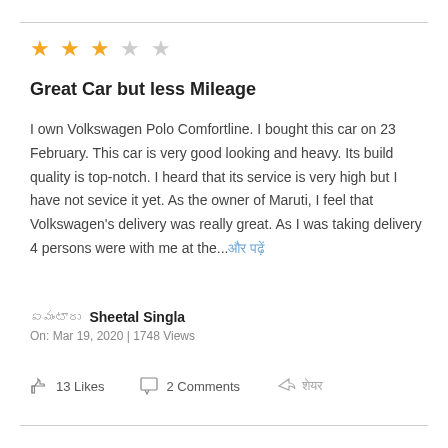[Figure (other): Star rating: 2.5 out of 5 stars (2 filled orange stars, 1 half orange star, 2 empty stars)]
Great Car but less Mileage
I own Volkswagen Polo Comfortline. I bought this car on 23 February. This car is very good looking and heavy. Its build quality is top-notch. I heard that its service is very high but I have not sevice it yet. As the owner of Maruti, I feel that Volkswagen's delivery was really great. As I was taking delivery 4 persons were with me at the...और पढ़ें
ఏమంటారు Sheetal Singla
On: Mar 19, 2020 | 1748 Views
13 Likes   2 Comments   शेयर